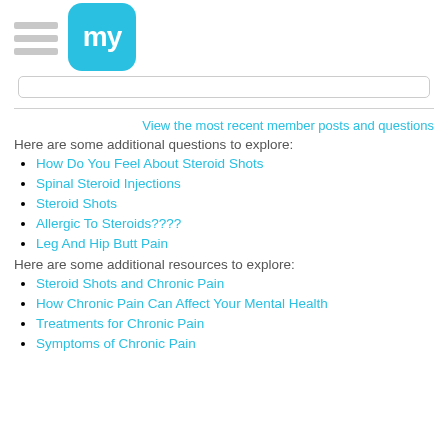my (logo)
View the most recent member posts and questions
Here are some additional questions to explore:
How Do You Feel About Steroid Shots
Spinal Steroid Injections
Steroid Shots
Allergic To Steroids????
Leg And Hip Butt Pain
Here are some additional resources to explore:
Steroid Shots and Chronic Pain
How Chronic Pain Can Affect Your Mental Health
Treatments for Chronic Pain
Symptoms of Chronic Pain